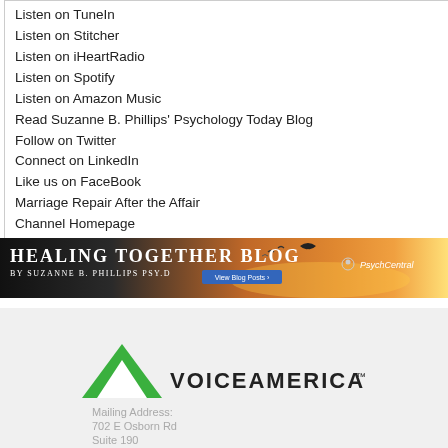Listen on TuneIn
Listen on Stitcher
Listen on iHeartRadio
Listen on Spotify
Listen on Amazon Music
Read Suzanne B. Phillips' Psychology Today Blog
Follow on Twitter
Connect on LinkedIn
Like us on FaceBook
Marriage Repair After the Affair
Channel Homepage
Bookmark This Show
[Figure (illustration): Healing Together Blog banner by Suzanne B. Phillips Psy.D with PsychCentral branding, sunset beach background]
[Figure (logo): VoiceAmerica logo with green triangle icon]
Mailing Address:
702 E Osborn Rd
Suite 190